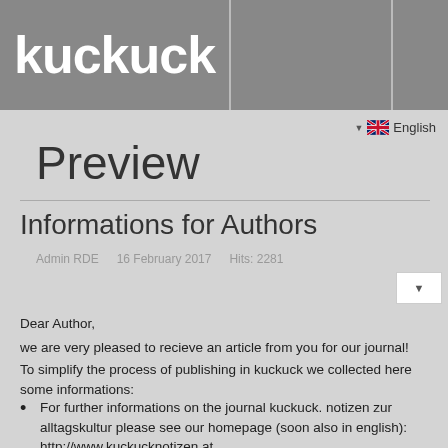kuckuck
▼ 🇬🇧 English
Preview
Informations for Authors
Admin RDE   16 February 2017   Hits: 2281
Dear Author,
we are very pleased to recieve an article from you for our journal!
To simplify the process of publishing in kuckuck we collected here some informations:
For further informations on the journal kuckuck. notizen zur alltagskultur please see our homepage (soon also in english): http://www.kuckucknotizen.at
Your article should not have more than 35.000 signs (with